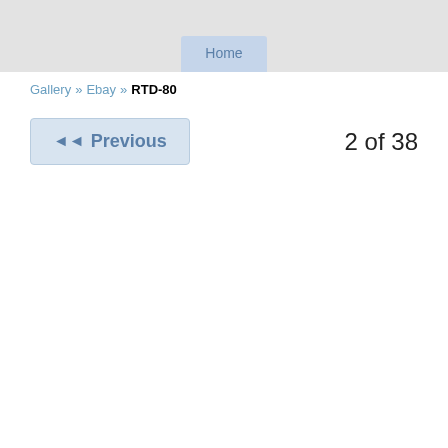Home
Gallery » Ebay » RTD-80
◄◄ Previous
2 of 38